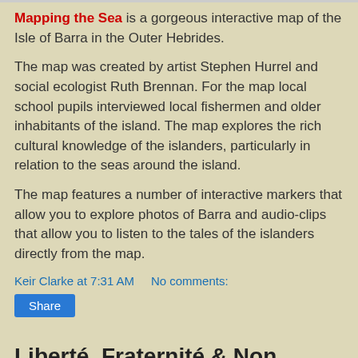Mapping the Sea is a gorgeous interactive map of the Isle of Barra in the Outer Hebrides.
The map was created by artist Stephen Hurrel and social ecologist Ruth Brennan. For the map local school pupils interviewed local fishermen and older inhabitants of the island. The map explores the rich cultural knowledge of the islanders, particularly in relation to the seas around the island.
The map features a number of interactive markers that allow you to explore photos of Barra and audio-clips that allow you to listen to the tales of the islanders directly from the map.
Keir Clarke at 7:31 AM    No comments:
Share
Liberté, Fraternité & Non Égalité